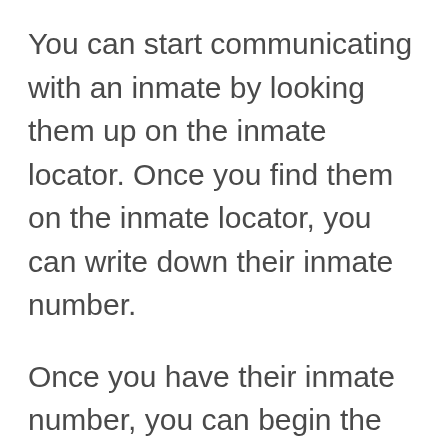You can start communicating with an inmate by looking them up on the inmate locator. Once you find them on the inmate locator, you can write down their inmate number.
Once you have their inmate number, you can begin the process of communication.
Let the inmate call you. Inmates can call friends and family, but friends and family cannot call inmates. Because